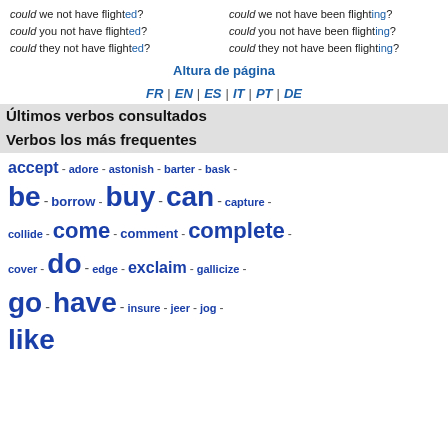could we not have flighted?
could you not have flighted?
could they not have flighted?
could we not have been flighting?
could you not have been flighting?
could they not have been flighting?
Altura de página
FR | EN | ES | IT | PT | DE
Últimos verbos consultados
Verbos los más frequentes
accept - adore - astonish - barter - bask -
be - borrow - buy - can - capture -
collide - come - comment - complete -
cover - do - edge - exclaim - gallicize -
go - have - insure - jeer - jog -
like